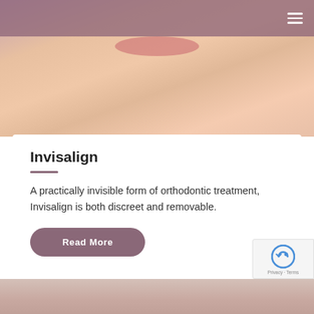[Figure (photo): Close-up photo of a person's lower face/chin and neck area, skin-toned, warm colors]
Invisalign
A practically invisible form of orthodontic treatment, Invisalign is both discreet and removable.
Read More
[Figure (photo): Partial photo at bottom of page showing a person's face]